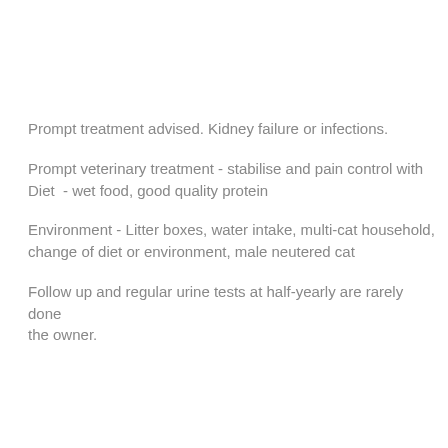Prompt treatment advised. Kidney failure or infections.
Prompt veterinary treatment - stabilise and pain control with Diet  - wet food, good quality protein
Environment - Litter boxes, water intake, multi-cat household, change of diet or environment, male neutered cat
Follow up and regular urine tests at half-yearly are rarely done the owner.